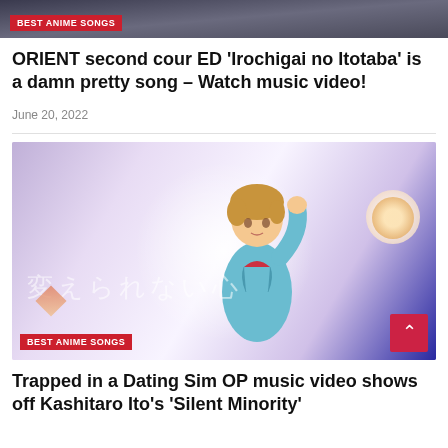[Figure (photo): Top portion of anime-related article card with dark background and 'BEST ANIME SONGS' red badge]
ORIENT second cour ED 'Irochigai no Itotaba' is a damn pretty song – Watch music video!
June 20, 2022
[Figure (illustration): Anime character (male, light brown hair, teal jacket) with hand raised to head, Japanese text overlay reading 変えられない心, decorative orbs and diamond shapes on purple/white gradient background, 'BEST ANIME SONGS' badge at bottom left]
Trapped in a Dating Sim OP music video shows off Kashitaro Ito's 'Silent Minority'